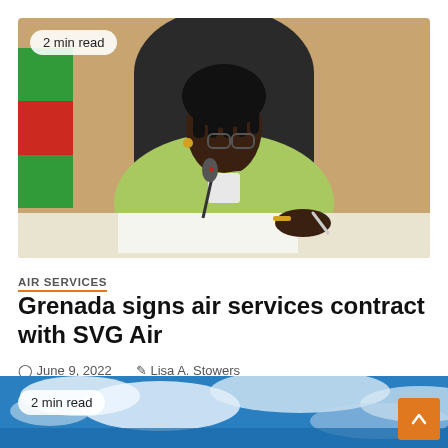[Figure (photo): A woman in a light green blazer sitting at a desk, signing a document. A Grenada flag is visible in the background. A microphone is on the desk. The room has an orange-tan wall.]
AIR SERVICES
Grenada signs air services contract with SVG Air
June 9, 2022   Lisa A. Stowers
[Figure (photo): Aerial or sky view photo showing blue ocean or sky with white clouds, partially visible at the bottom of the page. Reads '2 min read'.]